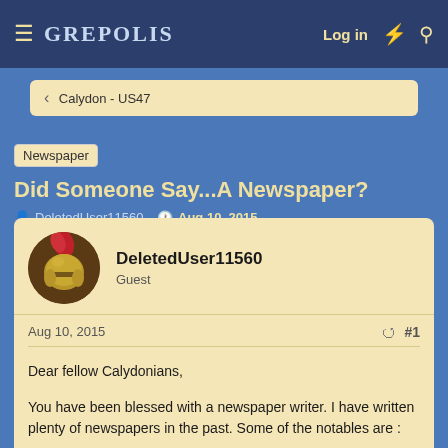≡ GREPOLIS  Log in ⚡ 🔍
< Calydon - US47
Newspaper  Did Someone Say...A Newspaper?
DeletedUser11560 · Aug 10, 2015
DeletedUser11560
Guest
Aug 10, 2015  #1
Dear fellow Calydonians,

You have been blessed with a newspaper writer. I have written plenty of newspapers in the past. Some of the notables are :

Phomrus Review(EN)